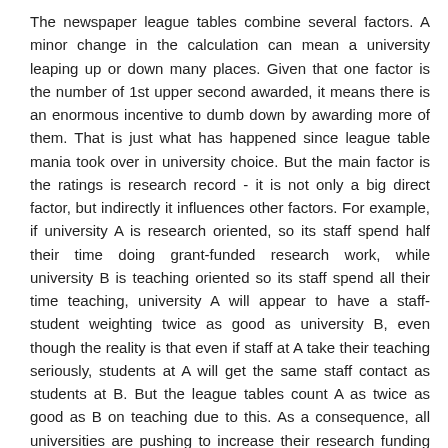The newspaper league tables combine several factors. A minor change in the calculation can mean a university leaping up or down many places. Given that one factor is the number of 1st upper second awarded, it means there is an enormous incentive to dumb down by awarding more of them. That is just what has happened since league table mania took over in university choice. But the main factor is the ratings is research record - it is not only a big direct factor, but indirectly it influences other factors. For example, if university A is research oriented, so its staff spend half their time doing grant-funded research work, while university B is teaching oriented so its staff spend all their time teaching, university A will appear to have a staff-student weighting twice as good as university B, even though the reality is that even if staff at A take their teaching seriously, students at A will get the same staff contact as students at B. But the league tables count A as twice as good as B on teaching due to this. As a consequence, all universities are pushing to increase their research funding even if the cost of this is to minimise effort put into teaching - as it usually is.
Reply